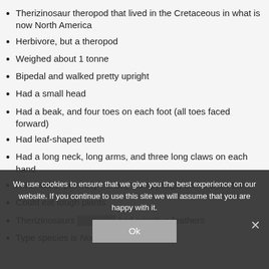Therizinosaur theropod that lived in the Cretaceous in what is now North America
Herbivore, but a theropod
Weighed about 1 tonne
Bipedal and walked pretty upright
Had a small head
Had a beak, and four toes on each foot (all toes faced forward)
Had leaf-shaped teeth
Had a long neck, long arms, and three long claws on each hand
Also had a “pot-belly”, short, stumpy legs, and a short tail
Could eat tough plants
Therizinosaurs had primitive feathers
Type species is Nothronychus makingii
We use cookies to ensure that we give you the best experience on our website. If you continue to use this site we will assume that you are happy with it.